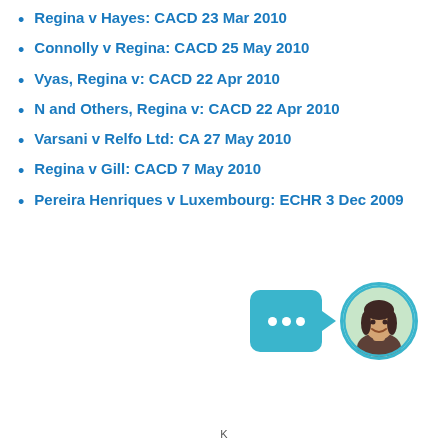Regina v Hayes: CACD 23 Mar 2010
Connolly v Regina: CACD 25 May 2010
Vyas, Regina v: CACD 22 Apr 2010
N and Others, Regina v: CACD 22 Apr 2010
Varsani v Relfo Ltd: CA 27 May 2010
Regina v Gill: CACD 7 May 2010
Pereira Henriques v Luxembourg: ECHR 3 Dec 2009
[Figure (illustration): Chat bubble widget with three white dots and a circular avatar showing a woman's photo, styled in teal/cyan colors]